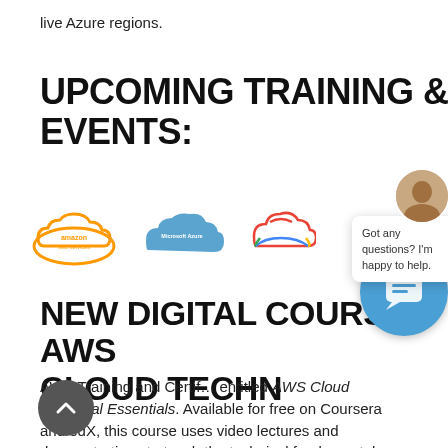live Azure regions.
UPCOMING TRAINING & EVENTS:
[Figure (logo): Three cloud provider logos: Amazon Web Services (orange cloud), Microsoft Azure (blue cloud), Google Cloud (colorful cloud)]
NEW DIGITAL COURSE: AWS CLOUD TECHN...
AWS Training and Certif... entitled AWS Cloud Technical Essentials. Available for free on Coursera and edX, this course uses video lectures and demonstrations to teach the technical fundamentals of AWS. Upon course completion, learners